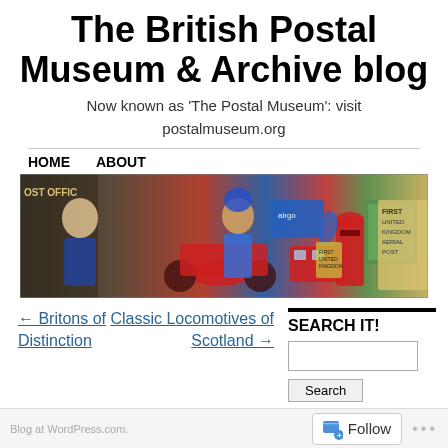The British Postal Museum & Archive blog
Now known as 'The Postal Museum': visit postalmuseum.org
HOME   ABOUT
[Figure (photo): Collage banner image featuring postal workers, red post box, stamps, and postal-themed imagery]
← Britons of Distinction
Classic Locomotives of Scotland →
SEARCH IT!
Follow   •••